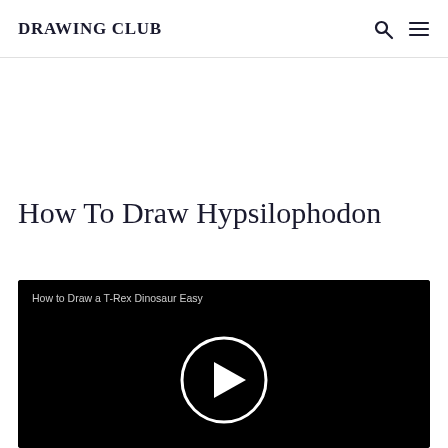DRAWING CLUB
How To Draw Hypsilophodon
[Figure (screenshot): Video thumbnail with black background showing play button circle and text 'How to Draw a T-Rex Dinosaur Easy']